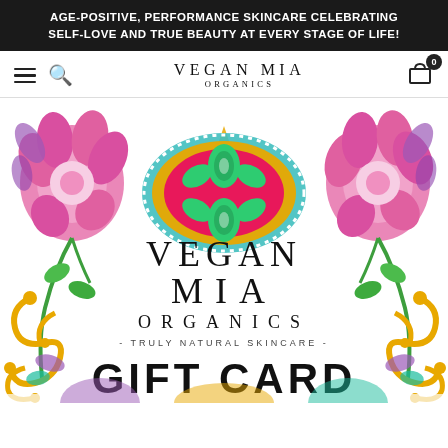AGE-POSITIVE, PERFORMANCE SKINCARE CELEBRATING SELF-LOVE AND TRUE BEAUTY AT EVERY STAGE OF LIFE!
VEGAN MIA ORGANICS
[Figure (illustration): Vegan Mia Organics gift card product image featuring colorful folk art floral illustration with pink and purple flowers, golden scrollwork border, central mandala-like ornament in teal/pink/green, and text reading VEGAN MIA ORGANICS - TRULY NATURAL SKINCARE - GIFT CARD]